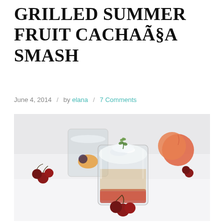GRILLED SUMMER FRUIT CACHAÃSA SMASH
June 4, 2014  /  by elana  /  7 Comments
[Figure (photo): Two lowball glasses filled with a cocktail — crushed ice and a sprig of thyme on top, grilled summer fruit visible at the bottom. Cherries and a peach are scattered around the glasses on a white surface.]